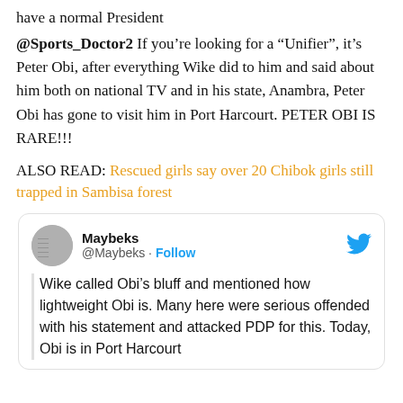have a normal President
@Sports_Doctor2 If you're looking for a “Unifier”, it’s Peter Obi, after everything Wike did to him and said about him both on national TV and in his state, Anambra, Peter Obi has gone to visit him in Port Harcourt. PETER OBI IS RARE!!!
ALSO READ: Rescued girls say over 20 Chibok girls still trapped in Sambisa forest
[Figure (screenshot): Tweet by @Maybeks with Twitter bird logo. Text: Wike called Obi's bluff and mentioned how lightweight Obi is. Many here were serious offended with his statement and attacked PDP for this. Today, Obi is in Port Harcourt]